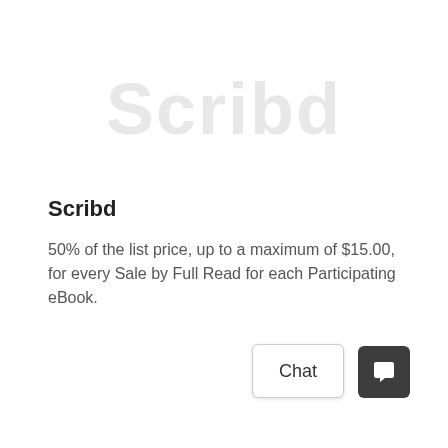[Figure (logo): Scribd watermark logo text in light gray]
Scribd
50% of the list price, up to a maximum of $15.00, for every Sale by Full Read for each Participating eBook.
[Figure (other): Chat button with speech bubble icon in dark background]